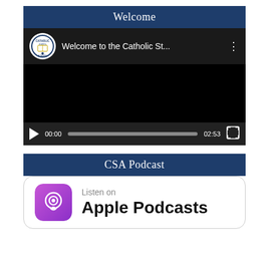Welcome
[Figure (screenshot): Embedded video player showing 'Welcome to the Catholic St...' with play button, progress bar showing 00:00 to 02:53, fullscreen button, and Catholic school logo]
CSA Podcast
[Figure (logo): Listen on Apple Podcasts badge with purple podcast icon and text 'Listen on Apple Podcasts']